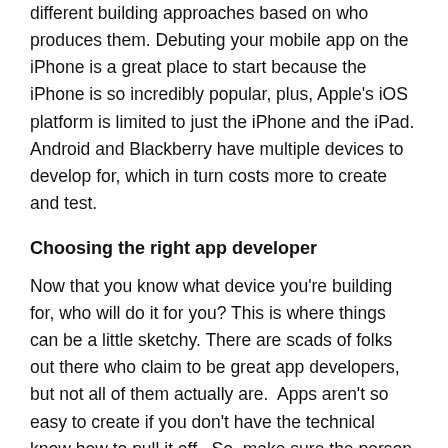different building approaches based on who produces them. Debuting your mobile app on the iPhone is a great place to start because the iPhone is so incredibly popular, plus, Apple's iOS platform is limited to just the iPhone and the iPad. Android and Blackberry have multiple devices to develop for, which in turn costs more to create and test.
Choosing the right app developer
Now that you know what device you're building for, who will do it for you? This is where things can be a little sketchy. There are scads of folks out there who claim to be great app developers, but not all of them actually are.  Apps aren't so easy to create if you don't have the technical know how to pull it off.  So, make sure the person you hire
A) Knows what they're doing
B) Has developed lots of apps and has loads of experience